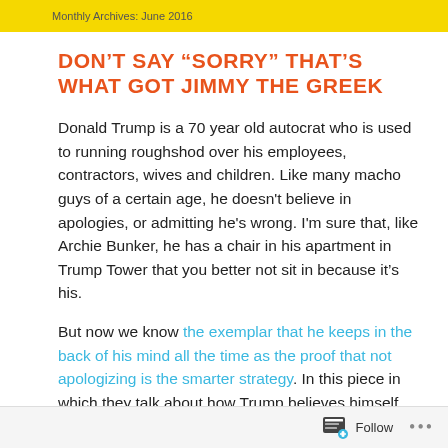Monthly Archives: June 2016
DON'T SAY “SORRY” THAT’S WHAT GOT JIMMY THE GREEK
Donald Trump is a 70 year old autocrat who is used to running roughshod over his employees, contractors, wives and children. Like many macho guys of a certain age, he doesn't believe in apologies, or admitting he's wrong. I'm sure that, like Archie Bunker, he has a chair in his apartment in Trump Tower that you better not sit in because it’s his.
But now we know the exemplar that he keeps in the back of his mind all the time as the proof that not apologizing is the smarter strategy. In this piece in which they talk about how Trump believes himself immune to the criticism of being “xenophobic” or
Follow